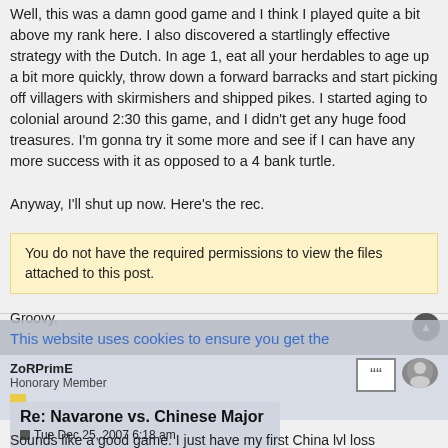Well, this was a damn good game and I think I played quite a bit above my rank here. I also discovered a startlingly effective strategy with the Dutch. In age 1, eat all your herdables to age up a bit more quickly, throw down a forward barracks and start picking off villagers with skirmishers and shipped pikes. I started aging to colonial around 2:30 this game, and I didn't get any huge food treasures. I'm gonna try it some more and see if I can have any more success with it as opposed to a 4 bank turtle.
Anyway, I'll shut up now. Here's the rec.
You do not have the required permissions to view the files attached to this post.
Groovy.
This website uses cookies to ensure you get the best experience on our website. Learn more
ZoRPrimE
Honorary Member
Re: Navarone vs. Chinese Major
Tue Dec 25, 2007 6:18 am
Sounds like a good game. I just have my first China lvl loss